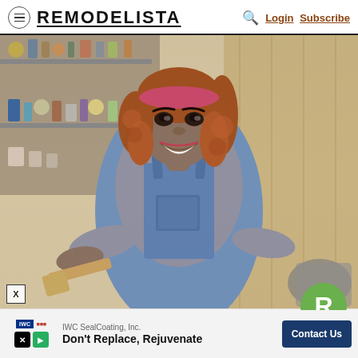REMODELISTA | Login Subscribe
[Figure (photo): A smiling woman with curly auburn hair wearing a pink headband and denim overalls over a grey shirt, holding a wooden tool in a workshop/garage setting with shelves of supplies in the background.]
X
IWC SealCoating, Inc. Don't Replace, Rejuvenate
Contact Us